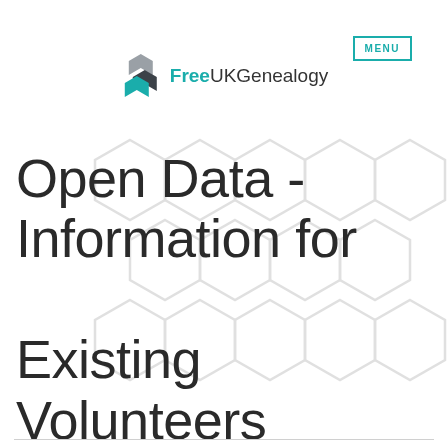[Figure (logo): FreeUKGenealogy logo with hexagon icon and text]
Open Data - Information for Existing Volunteers